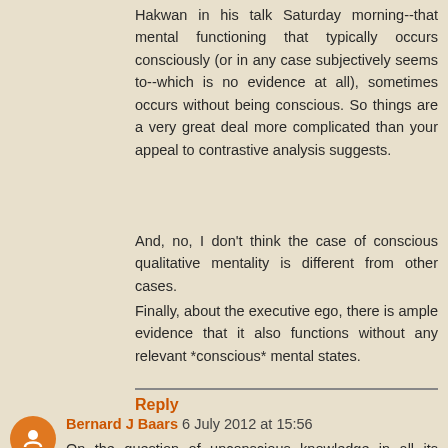Hakwan in his talk Saturday morning--that mental functioning that typically occurs consciously (or in any case subjectively seems to--which is no evidence at all), sometimes occurs without being conscious. So things are a very great deal more complicated than your appeal to contrastive analysis suggests.
And, no, I don't think the case of conscious qualitative mentality is different from other cases.
Finally, about the executive ego, there is ample evidence that it also functions without any relevant *conscious* mental states.
Reply
Bernard J Baars 6 July 2012 at 15:56
On the question of unconscious knowledge in all its varieties, an empirically adequate answer was published in